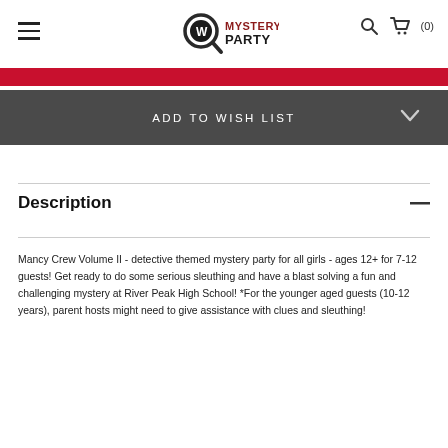Mystery Party
ADD TO WISH LIST
Description
Mancy Crew Volume II - detective themed mystery party for all girls - ages 12+ for 7-12 guests! Get ready to do some serious sleuthing and have a blast solving a fun and challenging mystery at River Peak High School! *For the younger aged guests (10-12 years), parent hosts might need to give assistance with clues and sleuthing!